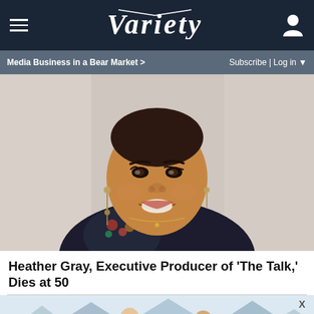VARIETY
Media Business in a Bear Market > | Subscribe | Log in
[Figure (photo): Portrait photo of Heather Gray, a smiling woman wearing a dark floral-patterned outfit with dangling earrings and a necklace, photographed against a light background]
Heather Gray, Executive Producer of 'The Talk,' Dies at 50
[Figure (illustration): An illustrated advertisement showing two people in a mountain landscape with pine trees, promoting adjustable dumbbells from SPY. Text reads: ADJUSTABLE DUMBBELLS SPY TESTED & REVIEWED]